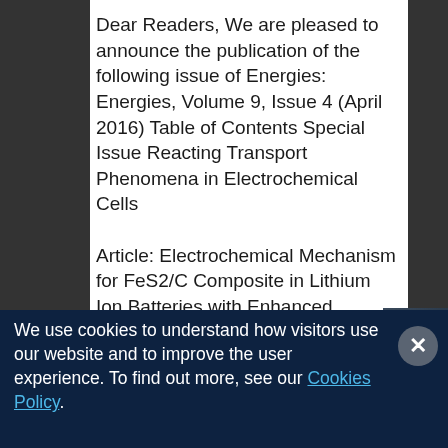Dear Readers, We are pleased to announce the publication of the following issue of Energies: Energies, Volume 9, Issue 4 (April 2016) Table of Contents Special Issue Reacting Transport Phenomena in Electrochemical Cells Article: Electrochemical Mechanism for FeS2/C Composite in Lithium Ion Batteries with Enhanced Reversible Capacity by Shengping Wang and
We use cookies to understand how visitors use our website and to improve the user experience. To find out more, see our Cookies Policy.